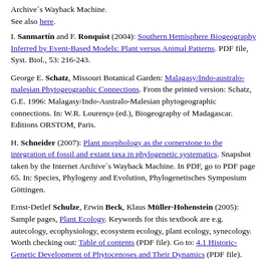Archive´s Wayback Machine.
See also here.
I. Sanmartín and F. Ronquist (2004): Southern Hemisphere Biogeography Inferred by Event-Based Models: Plant versus Animal Patterns. PDF file, Syst. Biol., 53: 216-243.
George E. Schatz, Missouri Botanical Garden: Malagasy/Indo-australo-malesian Phytogeographic Connections. From the printed version: Schatz, G.E. 1996: Malagasy/Indo-Australo-Malesian phytogeographic connections. In: W.R. Lourenço (ed.), Biogeography of Madagascar. Editions ORSTOM, Paris.
H. Schneider (2007): Plant morphology as the cornerstone to the integration of fossil and extant taxa in phylogenetic systematics. Snapshot taken by the Internet Archive´s Wayback Machine. In PDF, go to PDF page 65. In: Species, Phylogeny and Evolution, Phylogenetisches Symposium Göttingen.
Ernst-Detlef Schulze, Erwin Beck, Klaus Müller-Hohenstein (2005): Sample pages, Plant Ecology. Keywords for this textbook are e.g. autecology, ecophysiology, ecosystem ecology, plant ecology, synecology. Worth checking out: Table of contents (PDF file). Go to: 4.1 Historic-Genetic Development of Phytocenoses and Their Dynamics (PDF file).